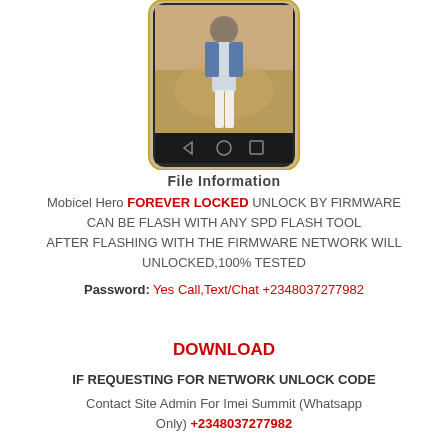[Figure (illustration): Illustration of an Android smartphone with a photo of a woman walking in a field displayed on the screen, and navigation buttons (back, home, recents) at the bottom of the device.]
File Information
Mobicel Hero FOREVER LOCKED UNLOCK BY FIRMWARE CAN BE FLASH WITH ANY SPD FLASH TOOL AFTER FLASHING WITH THE FIRMWARE NETWORK WILL UNLOCKED,100% TESTED
Password: Yes Call,Text/Chat +2348037277982
DOWNLOAD
IF REQUESTING FOR NETWORK UNLOCK CODE
Contact Site Admin For Imei Summit (Whatsapp Only) +2348037277982